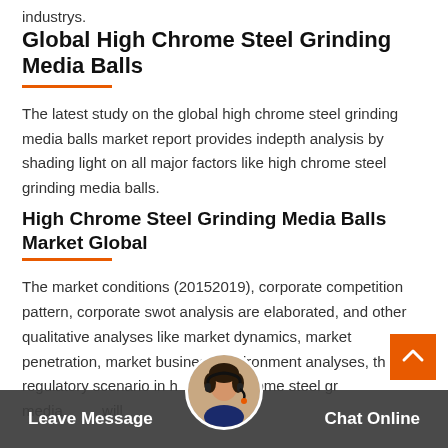industrys.
Global High Chrome Steel Grinding Media Balls
The latest study on the global high chrome steel grinding media balls market report provides indepth analysis by shading light on all major factors like high chrome steel grinding media balls.
High Chrome Steel Grinding Media Balls Market Global
The market conditions (20152019), corporate competition pattern, corporate swot analysis are elaborated, and other qualitative analyses like market dynamics, market penetration, market business environment analyses, the national regulatory scenario in high chrome steel grinding media balls will be shown in this report.
Leave Message   Chat Online